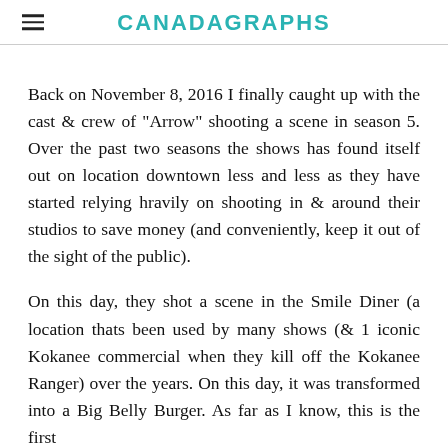CANADAGRAPHS
Back on November 8, 2016 I finally caught up with the cast & crew of "Arrow" shooting a scene in season 5. Over the past two seasons the shows has found itself out on location downtown less and less as they have started relying hravily on shooting in & around their studios to save money (and conveniently, keep it out of the sight of the public).
On this day, they shot a scene in the Smile Diner (a location thats been used by many shows (& 1 iconic Kokanee commercial when they kill off the Kokanee Ranger) over the years. On this day, it was transformed into a Big Belly Burger. As far as I know, this is the first the